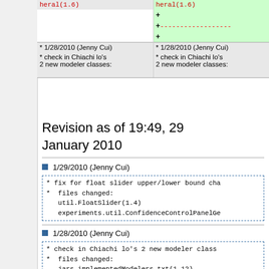| (old) | (new) |
| --- | --- |
| heral(1.6) | heral(1.6) |
| + | + (green) |
| + ------------------ | + ------------------ |
| + | + (green) |
| * 1/28/2010 (Jenny Cui) | * 1/28/2010 (Jenny Cui) |
| * check in Chiachi lo's
2 new modeler classes: | * check in Chiachi lo's
2 new modeler classes: |
Revision as of 19:49, 29 January 2010
1/29/2010 (Jenny Cui)
* fix for float slider upper/lower bound cha
*  files changed:
   util.FloatSlider(1.4)
   experiments.util.ConfidenceControlPanelGe
1/28/2010 (Jenny Cui)
* check in Chiachi lo's 2 new modeler class
*  files changed:
   jars.implementedModelers.txt(1.12)
   distributions.ParetoDistribution(1.8)
   distributions.RayleighDistribution(1.7)